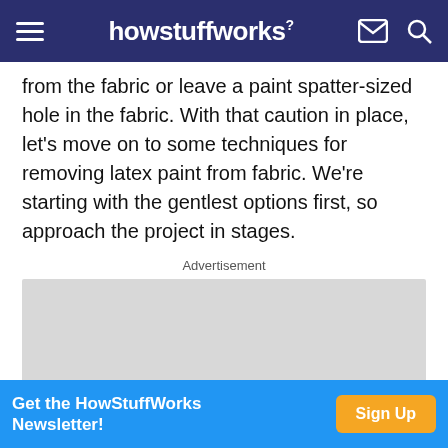howstuffworks
from the fabric or leave a paint spatter-sized hole in the fabric. With that caution in place, let's move on to some techniques for removing latex paint from fabric. We're starting with the gentlest options first, so approach the project in stages.
Advertisement
[Figure (other): Gray advertisement placeholder box]
[Figure (other): Blue banner at bottom: Get the HowStuffWorks Newsletter! Sign Up button in orange]